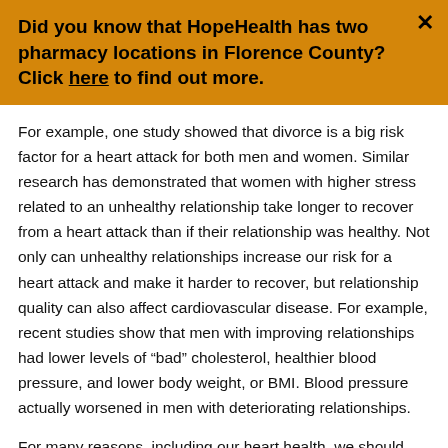Did you know that HopeHealth has two pharmacy locations in Florence County? Click here to find out more.
For example, one study showed that divorce is a big risk factor for a heart attack for both men and women. Similar research has demonstrated that women with higher stress related to an unhealthy relationship take longer to recover from a heart attack than if their relationship was healthy. Not only can unhealthy relationships increase our risk for a heart attack and make it harder to recover, but relationship quality can also affect cardiovascular disease. For example, recent studies show that men with improving relationships had lower levels of “bad” cholesterol, healthier blood pressure, and lower body weight, or BMI. Blood pressure actually worsened in men with deteriorating relationships.
For many reasons, including our heart health, we should monitor the quality of our romantic relationship and seek help when it is suffering. Below are a few of Dr. Gottman’s findings. Think of these as formulas for relationship success: